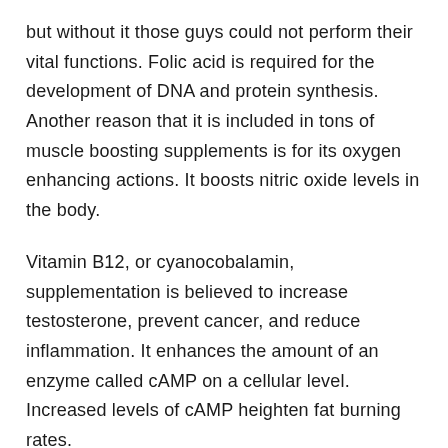but without it those guys could not perform their vital functions. Folic acid is required for the development of DNA and protein synthesis. Another reason that it is included in tons of muscle boosting supplements is for its oxygen enhancing actions. It boosts nitric oxide levels in the body.
Vitamin B12, or cyanocobalamin, supplementation is believed to increase testosterone, prevent cancer, and reduce inflammation. It enhances the amount of an enzyme called cAMP on a cellular level. Increased levels of cAMP heighten fat burning rates.
D-Aspartic Acid is an important amino acid that plays a crucial role in the development of sperm and sex hormones. It is said to boost both testosterone and the human growth hormone.
Tribulus Terrestris is often referred to as Devil's Weed and